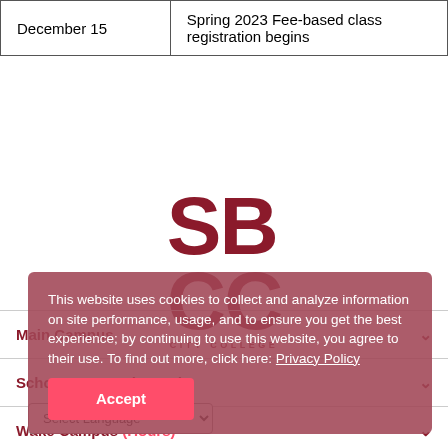| December 15 | Spring 2023 Fee-based class registration begins |
[Figure (logo): SBCC (Santa Barbara City College) logo in dark red/maroon, large stacked letters SB over CC with CITY COLLEGE subtitle]
This website uses cookies to collect and analyze information on site performance, usage, and to ensure you get the best experience; by continuing to use this website, you agree to their use. To find out more, click here: Privacy Policy
Accept
Main Campus
Schott Campus (Hours)
Wake Campus (Hours)
Select Language